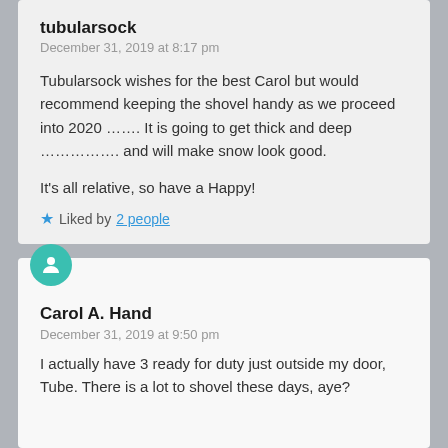tubularsock
December 31, 2019 at 8:17 pm
Tubularsock wishes for the best Carol but would recommend keeping the shovel handy as we proceed into 2020 ……. It is going to get thick and deep ……………. and will make snow look good.
It's all relative, so have a Happy!
Liked by 2 people
Carol A. Hand
December 31, 2019 at 9:50 pm
I actually have 3 ready for duty just outside my door, Tube. There is a lot to shovel these days, aye?